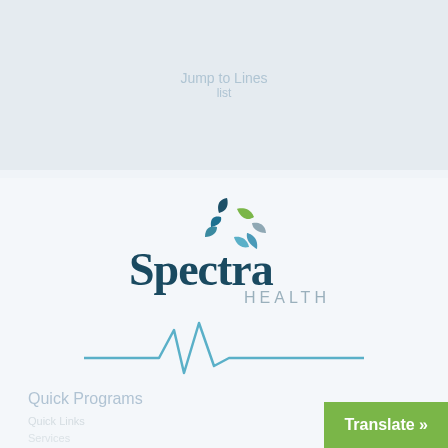[Figure (logo): Spectra Health logo with stylized leaf/pinwheel graphic above the text 'Spectra HEALTH' and a heartbeat/ECG line below]
Quick Programs
Translate »